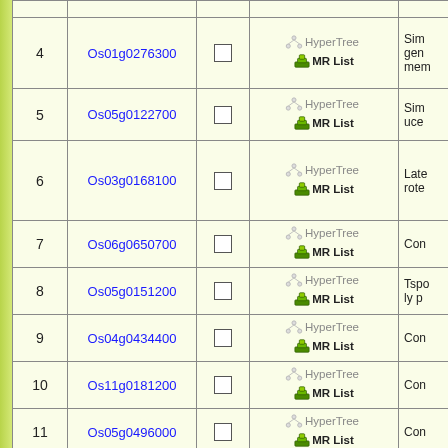| # | Gene ID |  | Links | Description |
| --- | --- | --- | --- | --- |
| 4 | Os01g0276300 | ☐ | HyperTree  MR List | Sim gen mem |
| 5 | Os05g0122700 | ☐ | HyperTree  MR List | Sim uce |
| 6 | Os03g0168100 | ☐ | HyperTree  MR List | Late rote |
| 7 | Os06g0650700 | ☐ | HyperTree  MR List | Con |
| 8 | Os05g0151200 | ☐ | HyperTree  MR List | Tspo ly p |
| 9 | Os04g0434400 | ☐ | HyperTree  MR List | Con |
| 10 | Os11g0181200 | ☐ | HyperTree  MR List | Con |
| 11 | Os05g0496000 | ☐ | HyperTree  MR List | Con |
| 12 | Os03g0157700 | ☐ | HyperTree  MR List | Prot UF6 |
| 13 | Os04g0386700 | ☐ | HyperTree  MR List | Con |
|  |  |  |  |  |